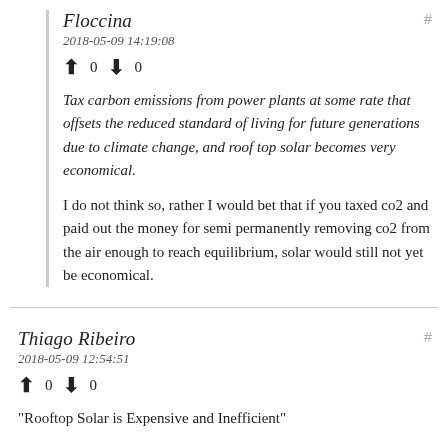Floccina
2018-05-09 14:19:08
↑ 0 ↓ 0
Tax carbon emissions from power plants at some rate that offsets the reduced standard of living for future generations due to climate change, and roof top solar becomes very economical.
I do not think so, rather I would bet that if you taxed co2 and paid out the money for semi permanently removing co2 from the air enough to reach equilibrium, solar would still not yet be economical.
Thiago Ribeiro
2018-05-09 12:54:51
↑ 0 ↓ 0
"Rooftop Solar is Expensive and Inefficient"